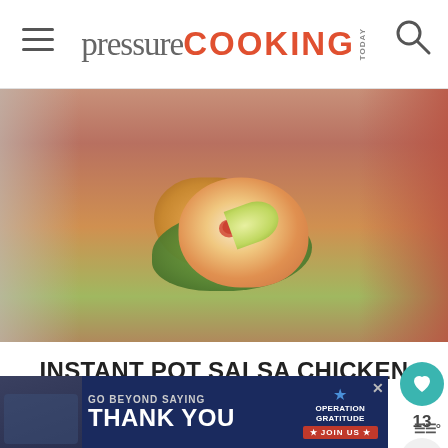pressure COOKING TODAY
[Figure (photo): Food photo of a bowl containing salsa lime chicken on a bed of greens with rice and a lime wedge garnish, on a rustic plate with fork visible]
INSTANT POT SALSA CHICKEN
Instant Pot Salsa Lime Chicken is a fast dump-and-go dinner recipe you can cook from frozen. Plus, it's topped with melty cheese
[Figure (photo): Advertisement banner: Go Beyond Saying Thank You - Operation Gratitude Join Us]